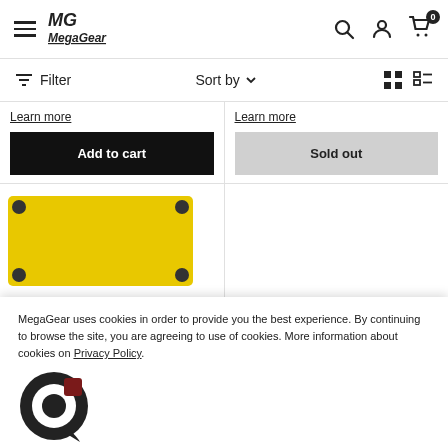MegaGear - navigation header with hamburger menu, logo, search, account, and cart icons
Filter   Sort by   (grid/list view icons)
Learn more
Add to cart
Learn more
Sold out
[Figure (photo): Yellow camera case product image]
[Figure (other): Chat/support widget icon]
MegaGear Canon PowerShot
MegaGear uses cookies in order to provide you the best experience. By continuing to browse the site, you are agreeing to use of cookies. More information about cookies on Privacy Policy.